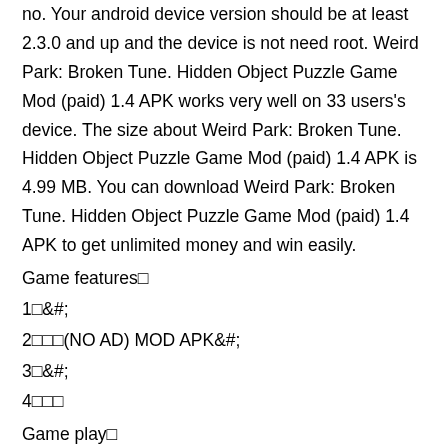no. Your android device version should be at least 2.3.0 and up and the device is not need root. Weird Park: Broken Tune. Hidden Object Puzzle Game Mod (paid) 1.4 APK works very well on 33 users's device. The size about Weird Park: Broken Tune. Hidden Object Puzzle Game Mod (paid) 1.4 APK is 4.99 MB. You can download Weird Park: Broken Tune. Hidden Object Puzzle Game Mod (paid) 1.4 APK to get unlimited money and win easily.
Game features�
1�&#;
2���(NO AD) MOD APK&#;
3�&#;
4���
Game play�
1�<p>Temple of Spikes is an upcoming game from Tigrido, the developer of My Majesty, and it looks rather charming.</p><p>
2�FUTBIN 22 Database & Draft Mod FUTBIN 21 Database & Draft Mod APK 8.14 Features:PlatinumStart exploring FIFA